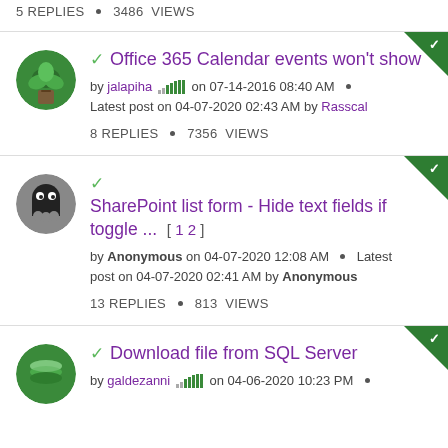5 REPLIES • 3486 VIEWS
Office 365 Calendar events won't show — by jalapiha on 07-14-2016 08:40 AM • Latest post on 04-07-2020 02:43 AM by Rasscal — 8 REPLIES • 7356 VIEWS
SharePoint list form - Hide text fields if toggle ... [ 1 2 ] — by Anonymous on 04-07-2020 12:08 AM • Latest post on 04-07-2020 02:41 AM by Anonymous — 13 REPLIES • 813 VIEWS
Download file from SQL Server — by galdezanni on 04-06-2020 10:23 PM •